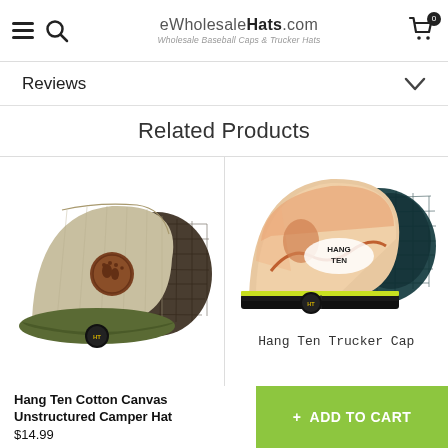eWholesaleHats.com — Wholesale Baseball Caps & Trucker Hats
Reviews
Related Products
[Figure (photo): Hang Ten Cotton Canvas Unstructured Camper Hat — beige/khaki structured trucker cap with dark brown mesh back, olive green brim, and a round brown leather patch logo on the front panel. A small Hang Ten logo tag is visible on the brim.]
[Figure (photo): Hang Ten Trucker Cap — black flat-brim snapback trucker cap with teal/black mesh back, a graphic front panel featuring a surfer silhouette and Hang Ten branding text, and a neon yellow-green stripe accent. A small Hang Ten logo tag is on the brim.]
Hang Ten Trucker Cap
Hang Ten Cotton Canvas Unstructured Camper Hat
$14.99
+ ADD TO CART